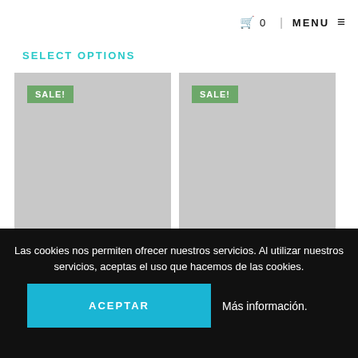0 MENU
SELECT OPTIONS
[Figure (photo): Gray placeholder product image with green SALE! badge in top left]
[Figure (photo): Gray placeholder product image with green SALE! badge in top left]
Las cookies nos permiten ofrecer nuestros servicios. Al utilizar nuestros servicios, aceptas el uso que hacemos de las cookies.
ACEPTAR
Más información.